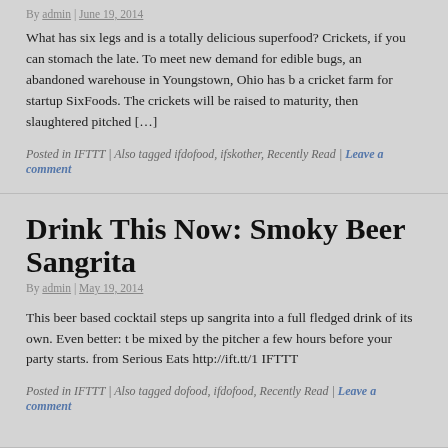By admin | June 19, 2014
What has six legs and is a totally delicious superfood? Crickets, if you can stomach the late. To meet new demand for edible bugs, an abandoned warehouse in Youngstown, Ohio has b a cricket farm for startup SixFoods. The crickets will be raised to maturity, then slaughtered pitched […]
Posted in IFTTT | Also tagged ifdofood, ifskother, Recently Read | Leave a comment
Drink This Now: Smoky Beer Sangrita
By admin | May 19, 2014
This beer based cocktail steps up sangrita into a full fledged drink of its own. Even better: t be mixed by the pitcher a few hours before your party starts. from Serious Eats http://ift.tt/1 IFTTT
Posted in IFTTT | Also tagged dofood, ifdofood, Recently Read | Leave a comment